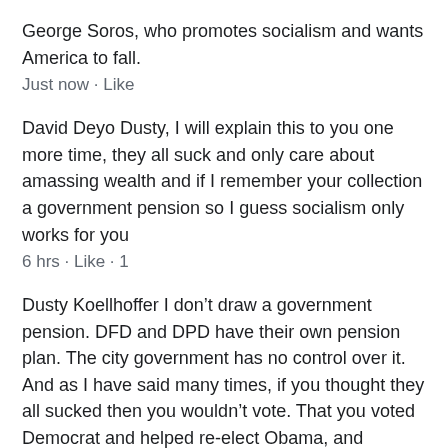George Soros, who promotes socialism and wants America to fall.
Just now · Like
David Deyo Dusty, I will explain this to you one more time, they all suck and only care about amassing wealth and if I remember your collection a government pension so I guess socialism only works for you
6 hrs · Like · 1
Dusty Koellhoffer I don't draw a government pension. DFD and DPD have their own pension plan. The city government has no control over it. And as I have said many times, if you thought they all sucked then you wouldn't vote. That you voted Democrat and helped re-elect Obama, and